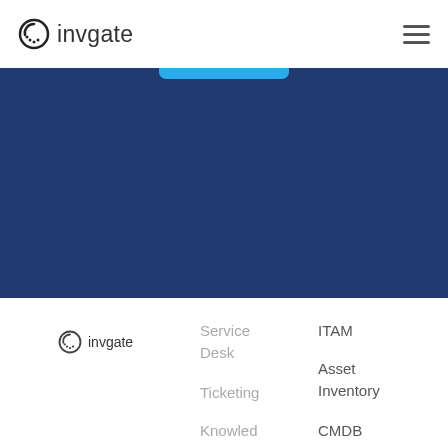invgate
[Figure (other): Dark navy blue banner/hero section with a cyan blue tab element at the top center]
[Figure (logo): InvGate logo in footer - circular icon with 'invgate' text]
Service Desk
Ticketing
Knowled
ITAM
Asset Inventory
CMDB